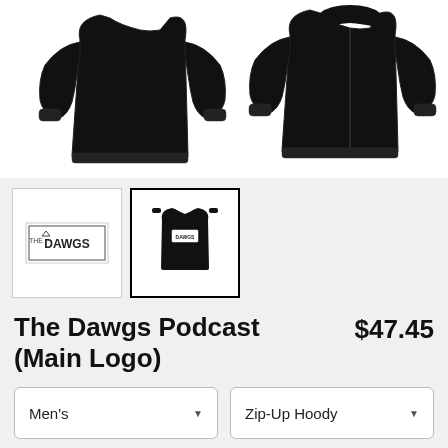[Figure (photo): Black zip-up hoodie shown from front and back on white background]
[Figure (photo): Small thumbnail: The Dawgs logo on white background]
[Figure (photo): Small thumbnail: Black zip-up hoodie with Dawgs logo on back, selected]
The Dawgs Podcast (Main Logo)
$47.45
Men's
Zip-Up Hoody
SELECT YOUR FIT
$47.45
French Terry
$52.45
Classic Fleece